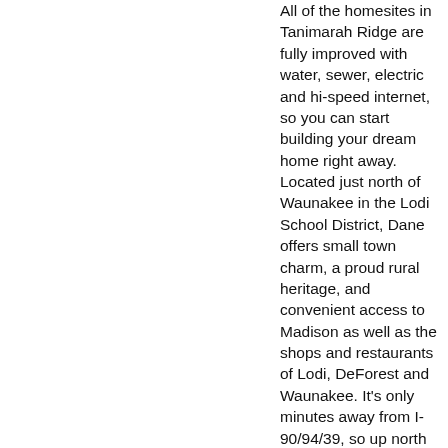All of the homesites in Tanimarah Ridge are fully improved with water, sewer, electric and hi-speed internet, so you can start building your dream home right away. Located just north of Waunakee in the Lodi School District, Dane offers small town charm, a proud rural heritage, and convenient access to Madison as well as the shops and restaurants of Lodi, DeForest and Waunakee. It's only minutes away from I-90/94/39, so up north retreats are also very convenient.